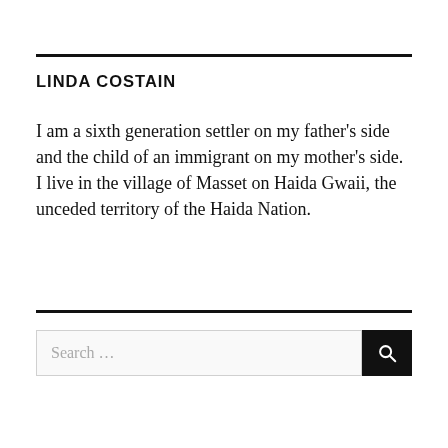LINDA COSTAIN
I am a sixth generation settler on my father's side and the child of an immigrant on my mother's side.  I live in the village of Masset on Haida Gwaii, the unceded territory of the Haida Nation.
[Figure (other): Search bar with placeholder text 'Search ...' and a black search button with magnifying glass icon]